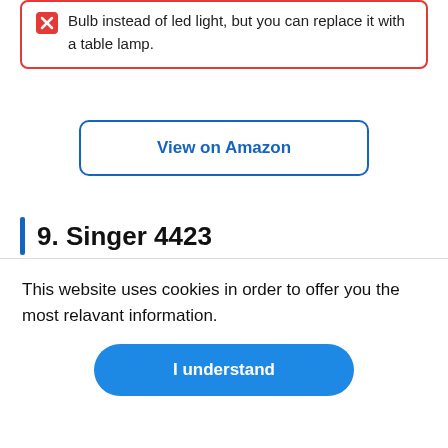Bulb instead of led light, but you can replace it with a table lamp.
View on Amazon
9. Singer 4423
[Figure (photo): Singer 4423 sewing machine, light grey body with a circular dial on the right and a red circle with '5' on it, on a white background.]
This website uses cookies in order to offer you the most relavant information.
I understand